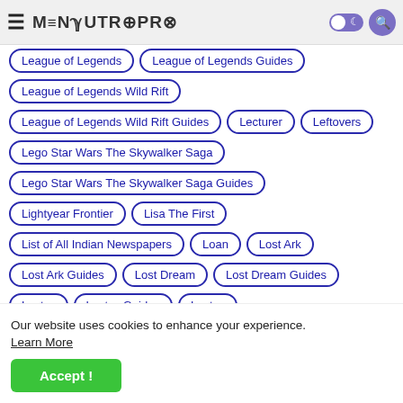MenSutroPro
League of Legends
League of Legends Guides
League of Legends Wild Rift
League of Legends Wild Rift Guides
Lecturer
Leftovers
Lego Star Wars The Skywalker Saga
Lego Star Wars The Skywalker Saga Guides
Lightyear Frontier
Lisa The First
List of All Indian Newspapers
Loan
Lost Ark
Lost Ark Guides
Lost Dream
Lost Dream Guides
Our website uses cookies to enhance your experience. Learn More
Accept !